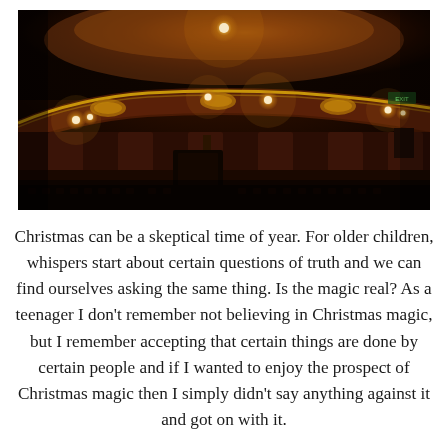[Figure (photo): Interior of a classic ornate theater with dark red walls, gilded balcony railing, warm glowing ceiling and balcony lights, and rows of seats visible at the bottom. Viewed from the stalls looking upward toward the dress circle.]
Christmas can be a skeptical time of year. For older children, whispers start about certain questions of truth and we can find ourselves asking the same thing. Is the magic real? As a teenager I don't remember not believing in Christmas magic, but I remember accepting that certain things are done by certain people and if I wanted to enjoy the prospect of Christmas magic then I simply didn't say anything against it and got on with it.